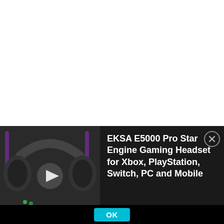As you get settled into each environment you will quickly realise how important both sound and the wind is. Each footstep you take is heard exceptionally clearly, whether that's the crunching of autumn leaves under your feet, the brittleness
[Figure (screenshot): Ad overlay showing EKSA E5000 Pro Star Engine Gaming Headset product advertisement with a video thumbnail of a gaming headset on the left and product title text on the right, with an X close button and an OK button at the bottom.]